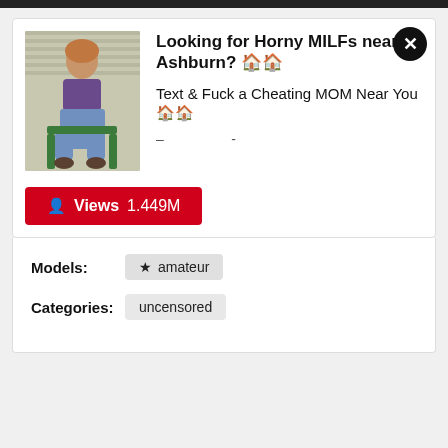[Figure (photo): Advertisement banner showing a woman seated outdoors]
Looking for Horny MILFs near Ashburn? 🏠🏠
Text & Fuck a Cheating MOM Near You 🏠🏠
👤 Views 1.449M
Models: ★ amateur
Categories: uncensored